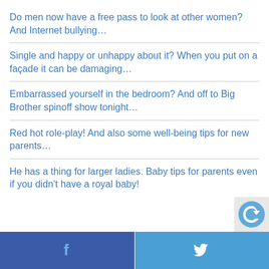Do men now have a free pass to look at other women? And Internet bullying…
Single and happy or unhappy about it? When you put on a façade it can be damaging…
Embarrassed yourself in the bedroom? And off to Big Brother spinoff show tonight…
Red hot role-play! And also some well-being tips for new parents…
He has a thing for larger ladies. Baby tips for parents even if you didn't have a royal baby!
Facebook | Twitter